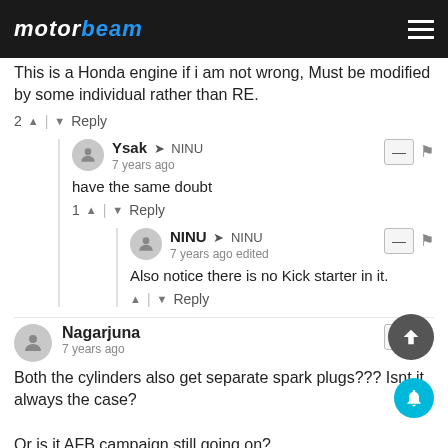MOTORBEAM
This is a Honda engine if i am not wrong, Must be modified by some individual rather than RE.
2 ^ | v Reply
Ysak → NINU
7 years ago
have the same doubt
1 ^ | v Reply
NINU → NINU
7 years ago edited
Also notice there is no Kick starter in it.
^ | v Reply
Nagarjuna
7 years ago
Both the cylinders also get separate spark plugs??? Isnt it always the case?

Or is it AFB campaign still going on?